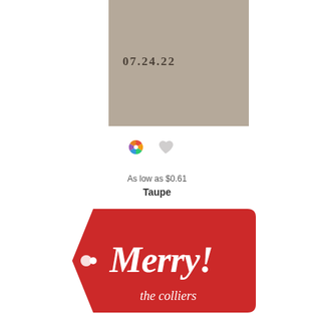[Figure (illustration): Taupe colored square card with date 07.24.22 printed in dark serif font in the center]
[Figure (illustration): Two small icons: a colorful pinwheel/flower icon and a gray heart icon]
As low as $0.61
Taupe
[Figure (illustration): Red gift tag shaped card with white script text reading Merry! and the colliers]